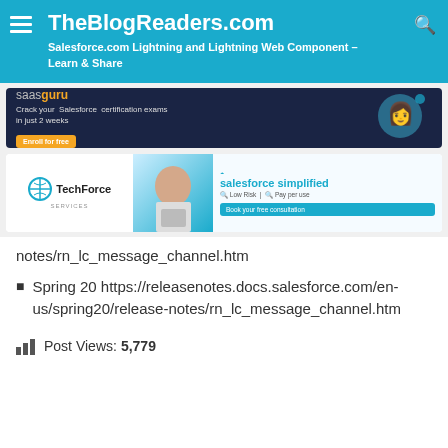TheBlogReaders.com
Salesforce.com Lightning and Lightning Web Component – Learn & Share
[Figure (photo): saasguru advertisement banner - Crack your Salesforce certification exams in just 2 weeks, Enroll for free]
[Figure (photo): TechForce Services advertisement - salesforce simplified, Low Risk, Pay per use, Book your free consultation]
notes/rn_lc_message_channel.htm
Spring 20 https://releasenotes.docs.salesforce.com/en-us/spring20/release-notes/rn_lc_message_channel.htm
Post Views: 5,779